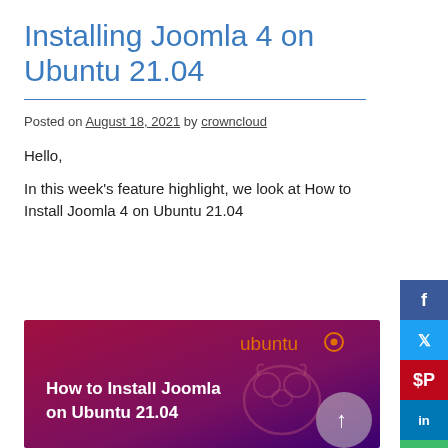Installing Joomla 4 on Ubuntu 21.04
Posted on August 18, 2021 by crowncloud
Hello,
In this week's feature highlight, we look at How to Install Joomla 4 on Ubuntu 21.04
[Figure (photo): Ubuntu promotional image with text 'How to Install Joomla on Ubuntu 21.04', ubuntu logo, raccoon outline, on a red-purple gradient background]